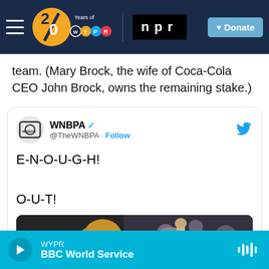[Figure (screenshot): WYPR 20 Years of WYPR / NPR website navigation header bar with hamburger menu, WYPR 20th anniversary logo, NPR logo, and Donate button on dark navy background]
team. (Mary Brock, the wife of Coca-Cola CEO John Brock, owns the remaining stake.)
[Figure (screenshot): Embedded tweet from WNBPA (@TheWNBPA) with verified checkmark and Follow button. Tweet text reads: E-N-O-U-G-H! O-U-T! With an attached photo showing two women at a basketball game, one with blonde hair in red jacket and one with fist raised.]
WYPR  BBC World Service